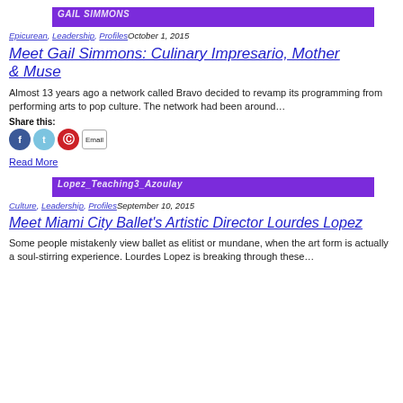[Figure (photo): Purple banner with text GAIL SIMMONS]
Epicurean, Leadership, ProfilesOctober 1, 2015
Meet Gail Simmons: Culinary Impresario, Mother & Muse
Almost 13 years ago a network called Bravo decided to revamp its programming from performing arts to pop culture. The network had been around…
Share this:
[Figure (other): Social share icons: Facebook, Twitter, Pinterest, Email]
Read More
[Figure (photo): Purple banner with text Lopez_Teaching3_Azoulay]
Culture, Leadership, ProfilesSeptember 10, 2015
Meet Miami City Ballet's Artistic Director Lourdes Lopez
Some people mistakenly view ballet as elitist or mundane, when the art form is actually a soul-stirring experience. Lourdes Lopez is breaking through these…